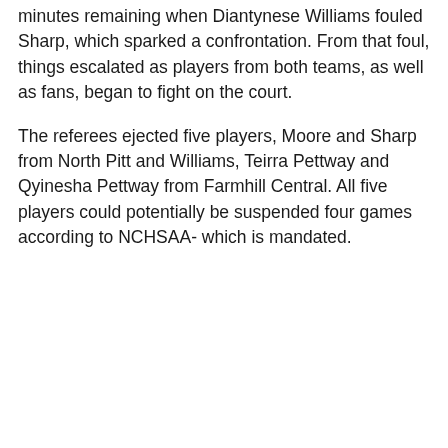minutes remaining when Diantynese Williams fouled Sharp, which sparked a confrontation. From that foul, things escalated as players from both teams, as well as fans, began to fight on the court.
The referees ejected five players, Moore and Sharp from North Pitt and Williams, Teirra Pettway and Qyinesha Pettway from Farmhill Central. All five players could potentially be suspended four games according to NCHSAA- which is mandated.